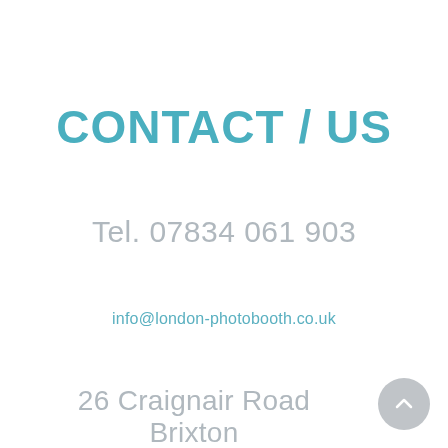CONTACT / US
Tel. 07834 061 903
info@london-photobooth.co.uk
26 Craignair Road Brixton